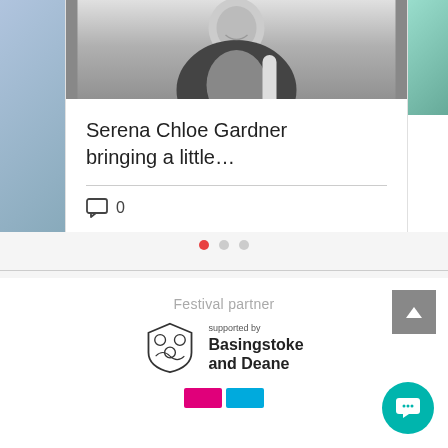[Figure (photo): Partial view of a smiling person wearing a black top with a backpack strap, shown in black and white, partially cropped at the top]
Serena Chloe Gardner bringing a little…
0
[Figure (logo): Carousel pagination dots: one active red dot and two inactive grey dots]
Festival partner
[Figure (logo): Basingstoke and Deane council logo with shield emblem and text 'supported by Basingstoke and Deane']
[Figure (logo): Two colored blocks: pink and blue rectangles at bottom]
[Figure (other): Grey square back-to-top button with upward chevron arrow]
[Figure (other): Teal circular chat button with speech bubble icon]